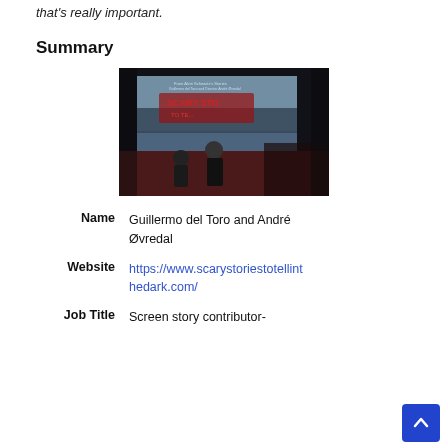that's really important.
Summary
[Figure (photo): Two people seated on stage in front of a large screen displaying the title 'Scary Stories to Tell in the Dark'. Dark auditorium setting with red carpet.]
| Name | Guillermo del Toro and André Øvredal |
| Website | https://www.scarystoriestotellinthedark.com/ |
| Job Title | Screen story contributor- |